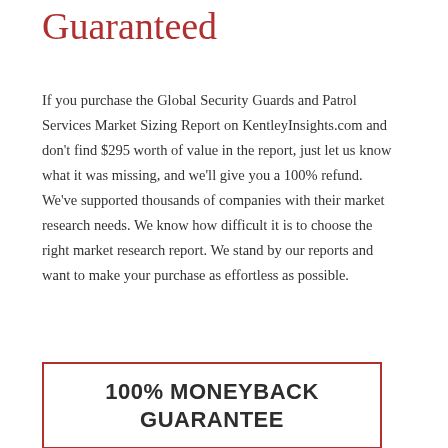Guaranteed
If you purchase the Global Security Guards and Patrol Services Market Sizing Report on KentleyInsights.com and don't find $295 worth of value in the report, just let us know what it was missing, and we'll give you a 100% refund. We've supported thousands of companies with their market research needs. We know how difficult it is to choose the right market research report. We stand by our reports and want to make your purchase as effortless as possible.
100% MONEYBACK GUARANTEE